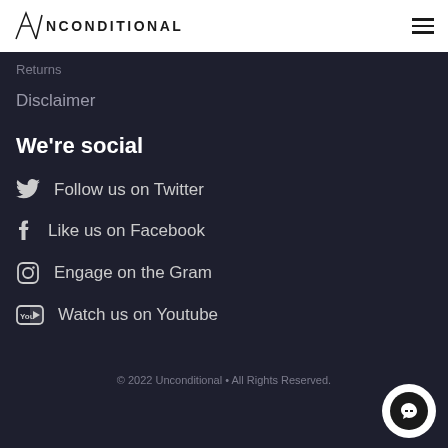UNCONDITIONAL
Returns
Disclaimer
We're social
Follow us on Twitter
Like us on Facebook
Engage on the Gram
Watch us on Youtube
© 2022 Unconditional • All Rights Reserved.